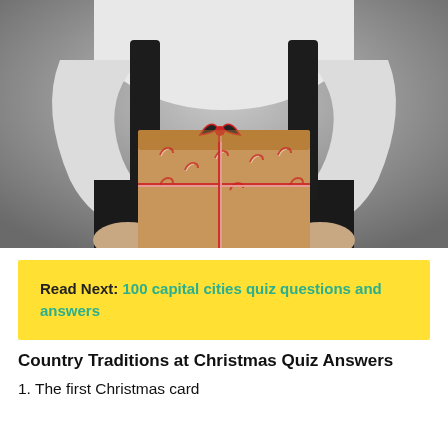[Figure (photo): A person wearing a white long-sleeve shirt and black dungarees/overalls, holding out a brown kraft paper wrapped gift box decorated with candy cane motifs and tied with red and white striped twine, against a grey background.]
Read Next: 100 capital cities quiz questions and answers
Country Traditions at Christmas Quiz Answers
1. The first Christmas card